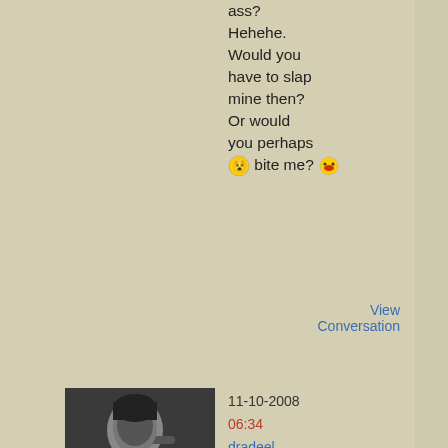ass? Hehehe. Would you have to slap mine then? Or would you perhaps bite me? [emoji]
View Conversation
[Figure (photo): Black and white photo of a person holding something near their face]
11-10-2008 06:34 dradeel
Well... you can slap my face with your flat hand. That'll be sexy [emoji] And why won't you slap my ass? If you were drunk, would you do it then? Hehehehe.
And I'd slap your ass